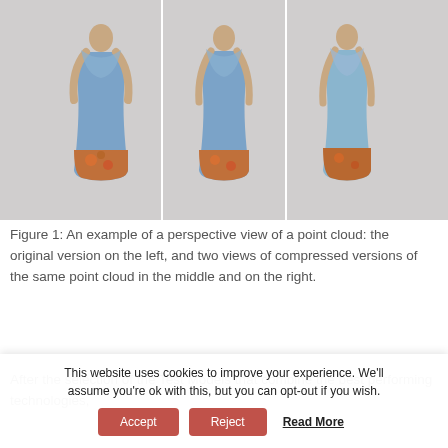[Figure (photo): Three side-by-side views of a human figure wearing a colorful printed dress/jumpsuit against a gray background. Left panel shows the original point cloud version, middle and right panels show compressed versions.]
Figure 1: An example of a perspective view of a point cloud: the original version on the left, and two views of compressed versions of the same point cloud in the middle and on the right.
After the selection of the Test Models that combine the best performing technologies,